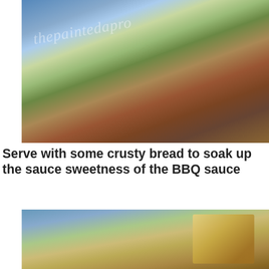[Figure (photo): Food photo showing a decorated ceramic plate with meat and vegetables in BBQ sauce, partially cropped at top of page]
Serve with some crusty bread to soak up the sauce sweetness of the BBQ sauce
[Figure (photo): Food photo showing a decorated ceramic plate with braised/BBQ meat and crusty bread, partially visible]
•
Privacy & Cookies: This site uses cookies. By continuing to use this website, you agree to their use.
To find out more, including how to control cookies, see here: Cookie Policy
Close and accept